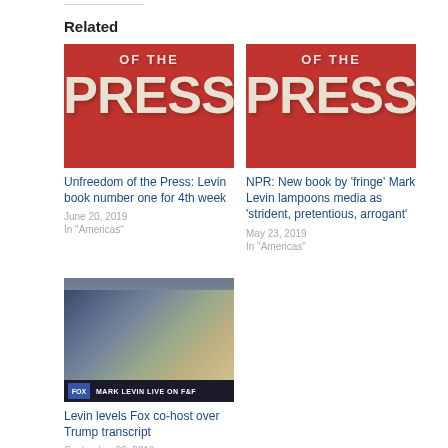Related
[Figure (photo): Red book cover with text 'OF THE PRESS' in large white letters on red background]
Unfreedom of the Press: Levin book number one for 4th week
June 20, 2019
In "Americas"
[Figure (photo): Red book cover with text 'OF THE PRESS' in large white letters on red background]
NPR: New book by ‘fringe’ Mark Levin lampoons media as ‘strident, pretentious, arrogant’
May 23, 2019
In "Americas"
[Figure (photo): TV screenshot of Mark Levin Live on Fox & Friends showing people seated on a couch in a studio]
Levin levels Fox co-host over Trump transcript
September 29, 2019
In "Exclusives"